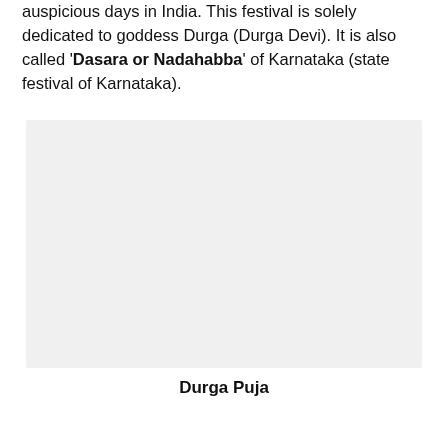auspicious days in India. This festival is solely dedicated to goddess Durga (Durga Devi). It is also called 'Dasara or Nadahabba' of Karnataka (state festival of Karnataka).
[Figure (photo): A light gray placeholder image area representing a photo related to Durga Puja.]
Durga Puja